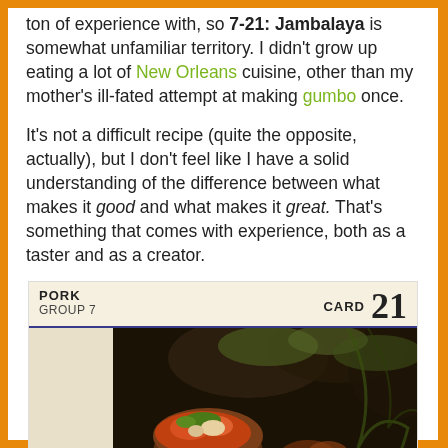ton of experience with, so 7-21: Jambalaya is somewhat unfamiliar territory. I didn't grow up eating a lot of New Orleans cuisine, other than my mother's ill-fated attempt at making gumbo once.
It's not a difficult recipe (quite the opposite, actually), but I don't feel like I have a solid understanding of the difference between what makes it good and what makes it great. That's something that comes with experience, both as a taster and as a creator.
[Figure (photo): A recipe card labeled 'PORK GROUP 7 CARD 21' with a dark photograph of a jambalaya dish in a pot, surrounded by ingredients and garnished with herbs.]